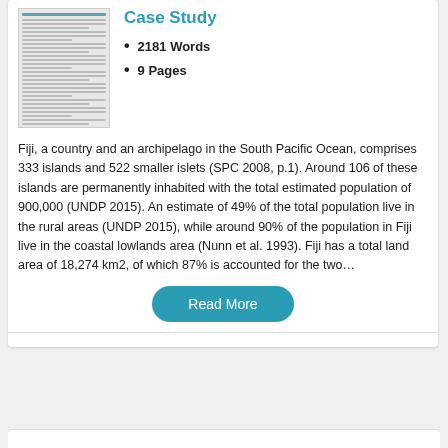[Figure (illustration): Thumbnail preview of a document/case study page showing lines of text]
Case Study
2181 Words
9 Pages
Fiji, a country and an archipelago in the South Pacific Ocean, comprises 333 islands and 522 smaller islets (SPC 2008, p.1). Around 106 of these islands are permanently inhabited with the total estimated population of 900,000 (UNDP 2015). An estimate of 49% of the total population live in the rural areas (UNDP 2015), while around 90% of the population in Fiji live in the coastal lowlands area (Nunn et al. 1993). Fiji has a total land area of 18,274 km2, of which 87% is accounted for the two…
Read More